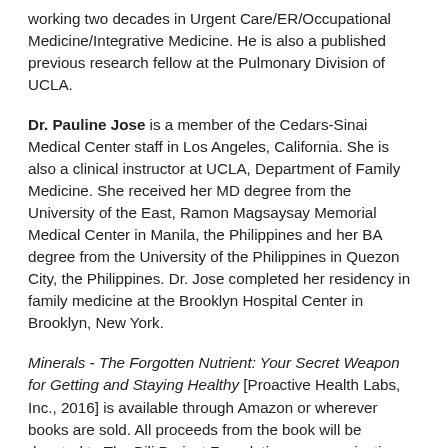working two decades in Urgent Care/ER/Occupational Medicine/Integrative Medicine. He is also a published previous research fellow at the Pulmonary Division of UCLA.
Dr. Pauline Jose is a member of the Cedars-Sinai Medical Center staff in Los Angeles, California. She is also a clinical instructor at UCLA, Department of Family Medicine. She received her MD degree from the University of the East, Ramon Magsaysay Memorial Medical Center in Manila, the Philippines and her BA degree from the University of the Philippines in Quezon City, the Philippines. Dr. Jose completed her residency in family medicine at the Brooklyn Hospital Center in Brooklyn, New York.
Minerals - The Forgotten Nutrient: Your Secret Weapon for Getting and Staying Healthy [Proactive Health Labs, Inc., 2016] is available through Amazon or wherever books are sold. All proceeds from the book will be donated to The Bili Project Foundation, an organization devoted to reducing the incident and improve the outcome of Hepatobilary cancers, which are cancers of the liver, gallbladder, or bile ducts.